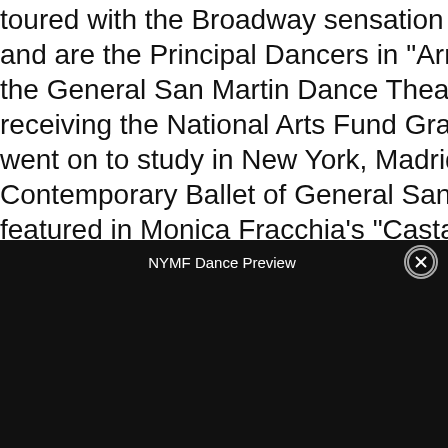toured with the Broadway sensation "Luis Bravo's Forever Tango", and are the Principal Dancers in "Arrabal". Soledad is a graduate of the General San Martin Dance Theatre Workshop, Buenos Aires. After receiving the National Arts Fund Grant for Artistic Excellence, she went on to study in New York, Madrid and Berlin, before joining the Contemporary Ballet of General San Martin Theatre. She was featured in Monica Fracchia's "Casta Diva" and "Bare Feet" by Laura Roatta, and performed in numerous other major musical productions in Buenos Aires. Cesar Peral's dance background is rooted in Argentinian folklore, having been a member of the "Ballet Camin" at the International Festival of
[Figure (other): Share sidebar with Twitter and Facebook icons on dark background]
NYMF Dance Preview